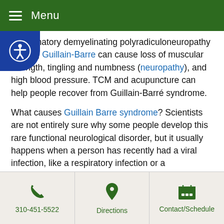Menu
inflammatory demyelinating polyradiculoneuropathy (AIDP), Guillain-Barre can cause loss of muscular strength, tingling and numbness (neuropathy), and high blood pressure. TCM and acupuncture can help people recover from Guillain-Barré syndrome.
What causes Guillain Barre syndrome? Scientists are not entirely sure why some people develop this rare functional neurological disorder, but it usually happens when a person has recently had a viral infection, like a respiratory infection or a gastrointestinal infection. GBS is also associated with infections like pneumonia, Epstein-Barr, Hepatitis, and HIV.
This autoimmune disease often progresses quickly and can even lead to paralysis. Most people with Guillain Barre disease will require hospitalization. With treatment,  the majority of
310-451-5522 | Directions | Contact/Schedule